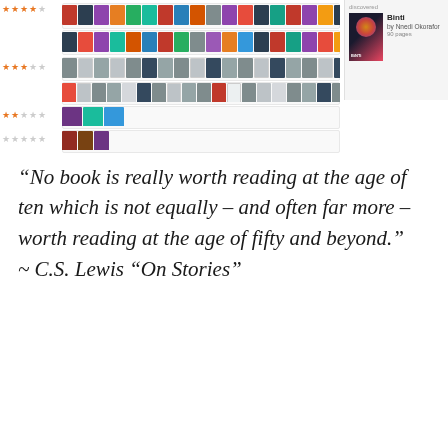[Figure (screenshot): Goodreads-style reading list screenshot showing rows of book cover thumbnails grouped by star rating (4-5 stars, 3-4 stars, 2-3 stars, 2 stars, 1 star), with a sidebar card showing 'Binti' by Nnedi Okorafor, 90 pages]
“No book is really worth reading at the age of ten which is not equally – and often far more – worth reading at the age of fifty and beyond.”
~ C.S. Lewis “On Stories”